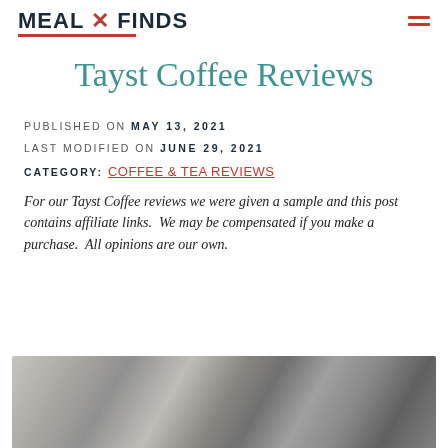MEAL X FINDS
Tayst Coffee Reviews
PUBLISHED ON MAY 13, 2021
LAST MODIFIED ON JUNE 29, 2021
CATEGORY: Coffee & Tea Reviews
For our Tayst Coffee reviews we were given a sample and this post contains affiliate links.  We may be compensated if you make a purchase.  All opinions are our own.
[Figure (photo): Photo of Tayst Coffee product packaging, silver metallic bag, partially visible at bottom of page]